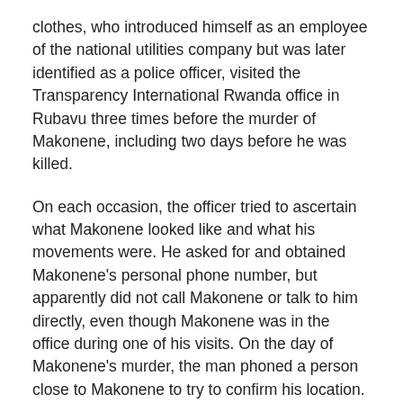clothes, who introduced himself as an employee of the national utilities company but was later identified as a police officer, visited the Transparency International Rwanda office in Rubavu three times before the murder of Makonene, including two days before he was killed.
On each occasion, the officer tried to ascertain what Makonene looked like and what his movements were. He asked for and obtained Makonene's personal phone number, but apparently did not call Makonene or talk to him directly, even though Makonene was in the office during one of his visits. On the day of Makonene's murder, the man phoned a person close to Makonene to try to confirm his location.
The police questioned this police officer and sent the statement to the prosecutor's office. The police told Human Rights Watch that the officer had been asking questions about Makonene in a personal capacity.